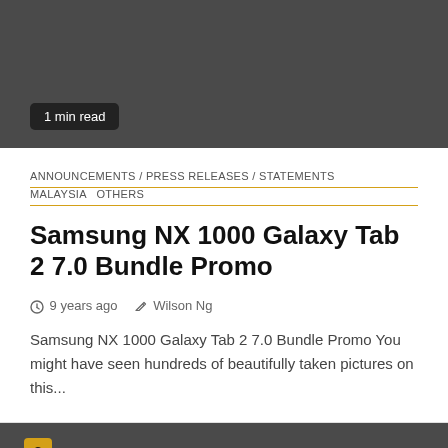[Figure (other): Dark gray banner image area with a '1 min read' badge in the bottom left corner]
ANNOUNCEMENTS / PRESS RELEASES / STATEMENTS
MALAYSIA  OTHERS
Samsung NX 1000 Galaxy Tab 2 7.0 Bundle Promo
9 years ago   Wilson Ng
Samsung NX 1000 Galaxy Tab 2 7.0 Bundle Promo You might have seen hundreds of beautifully taken pictures on this...
[Figure (other): Dark gray bottom banner with a yellow/gold numbered badge showing '3']